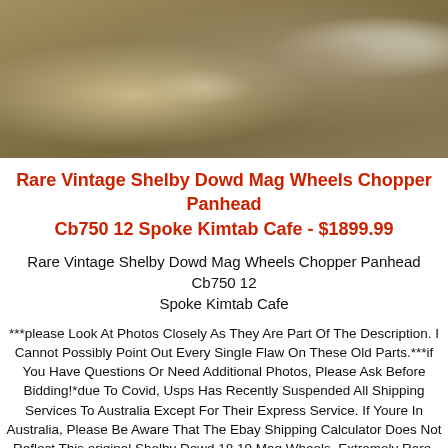[Figure (photo): Close-up photo of textured sandy/gravelly surface with a white chalky patch or smear visible]
Rare Vintage Shelby Dowd Mag Wheels Chopper Panhead Cb750 12 Spoke Kimtab Cafe - $1899.99
Rare Vintage Shelby Dowd Mag Wheels Chopper Panhead Cb750 12 Spoke Kimtab Cafe
***please Look At Photos Closely As They Are Part Of The Description. I Cannot Possibly Point Out Every Single Flaw On These Old Parts.***if You Have Questions Or Need Additional Photos, Please Ask Before Bidding!*due To Covid, Usps Has Recently Suspended All Shipping Services To Australia Except For Their Express Service. If Youre In Australia, Please Be Aware That The Ebay Shipping Calculator Does Not Reflect This.original Shelby Dowd 18 19 Mag Wheels. Extremely Rare, Never Seen Another Set. Featured In An Old David Mann Painting On A Panhead Harley Chopper (photo 2) Be Awesome For A Mann